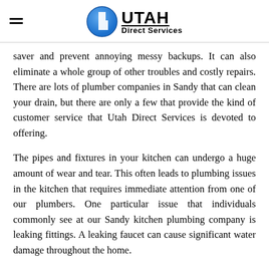Utah Direct Services
saver and prevent annoying messy backups. It can also eliminate a whole group of other troubles and costly repairs. There are lots of plumber companies in Sandy that can clean your drain, but there are only a few that provide the kind of customer service that Utah Direct Services is devoted to offering.
The pipes and fixtures in your kitchen can undergo a huge amount of wear and tear. This often leads to plumbing issues in the kitchen that requires immediate attention from one of our plumbers. One particular issue that individuals commonly see at our Sandy kitchen plumbing company is leaking fittings. A leaking faucet can cause significant water damage throughout the home.